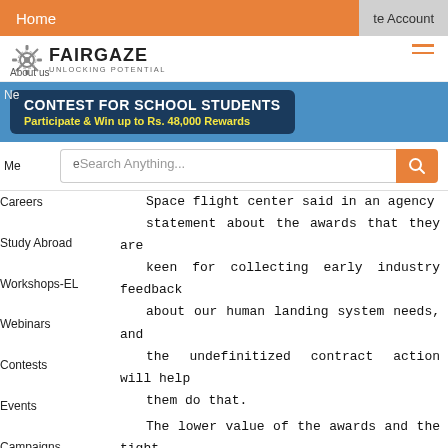Home  |  Create Account
[Figure (logo): FairGaze logo with gear icon and tagline UNLOCKING POTENTIAL]
[Figure (screenshot): Contest for School Students banner: Participate & Win up to Rs. 48,000 Rewards]
Search Anything...
News | Mentor | Careers | Study Abroad | Workshops-EL | Webinars | Contests | Events | Campaigns
Space flight center said in an agency statement about the awards that they are keen for collecting early industry feedback about our human landing system needs, and the undefinitized contract action will help them do that.

The lower value of the awards and the tight timeline will limit the scope of the work. Bill Gerstenmaier, NASA associate administrator for human exploration and operations said that in the first study phase they are actually